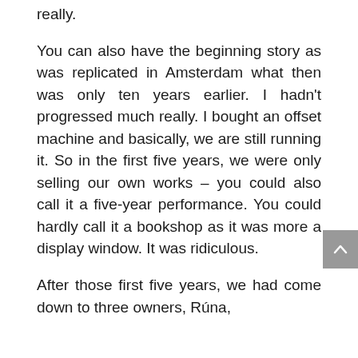really.
You can also have the beginning story as was replicated in Amsterdam what then was only ten years earlier. I hadn't progressed much really. I bought an offset machine and basically, we are still running it. So in the first five years, we were only selling our own works – you could also call it a five-year performance. You could hardly call it a bookshop as it was more a display window. It was ridiculous.
After those first five years, we had come down to three owners, Rúna,